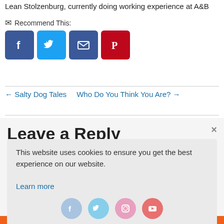Lean Stolzenburg, currently doing working experience at A&B
✉ Recommend This:
[Figure (infographic): Social share buttons: Facebook (blue), Twitter (light blue), Email (blue), Pinterest (red)]
← Salty Dog Tales   Who Do You Think You Are? →
Leave a Reply
You must be logged in to post a comment.
This website uses cookies to ensure you get the best experience on our website.
Learn more
[Figure (infographic): Social icons: Facebook, Twitter, Instagram, YouTube (circular pastel icons)]
Decline   Accept
CURRENTLY WE ARE...